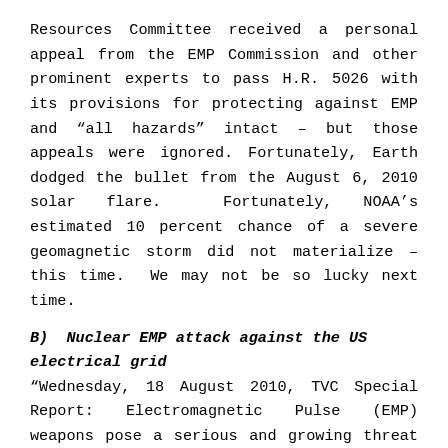Resources Committee received a personal appeal from the EMP Commission and other prominent experts to pass H.R. 5026 with its provisions for protecting against EMP and “all hazards” intact – but those appeals were ignored. Fortunately, Earth dodged the bullet from the August 6, 2010 solar flare.  Fortunately, NOAA’s estimated 10 percent chance of a severe geomagnetic storm did not materialize – this time.  We may not be so lucky next time.
B)  Nuclear EMP attack against the US electrical grid
“Wednesday, 18 August 2010, TVC Special Report: Electromagnetic Pulse (EMP) weapons pose a serious and growing threat to our national security. Rogue nations and terrorists are working to develop EMP devices to attack the United States and other developed nations. These include North Korea, Iran and China. Once North Korea and others acquire similar capabilities from their...